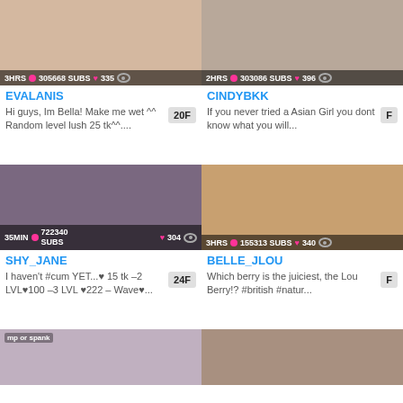[Figure (screenshot): Thumbnail image of EVALANIS stream, female figure, with stats bar: 3HRS, 305668 SUBS, 335 hearts, eye icon]
EVALANIS
Hi guys, Im Bella! Make me wet ^^ Random level lush 25 tk^^....
20F
[Figure (screenshot): Thumbnail image of CINDYBKK stream with stats bar: 2HRS, 303086 SUBS, 396 hearts, eye icon]
CINDYBKK
If you never tried a Asian Girl you dont know what you will...
F
[Figure (screenshot): Thumbnail image of SHY_JANE stream, female in black outfit, with stats bar: 35MIN, 722340 SUBS, 304 hearts, eye icon]
SHY_JANE
I haven't #cum YET...♥ 15 tk –2 LVL♥100 –3 LVL ♥222 – Wave♥...
24F
[Figure (screenshot): Thumbnail image of BELLE_JLOU stream, female in red outfit, with stats bar: 3HRS, 155313 SUBS, 340 hearts, eye icon]
BELLE_JLOU
Which berry is the juiciest, the Lou Berry!? #british #natur...
F
[Figure (screenshot): Partial bottom-left thumbnail, female with red hair, text overlay: mp or spank]
[Figure (screenshot): Partial bottom-right thumbnail, female with dark hair]